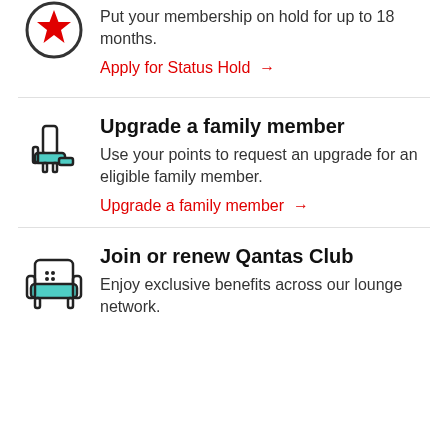[Figure (illustration): Qantas status hold icon: circle with red star inside]
Status Hold
Put your membership on hold for up to 18 months.
Apply for Status Hold →
[Figure (illustration): Airplane seat / upgrade icon in teal and black outline]
Upgrade a family member
Use your points to request an upgrade for an eligible family member.
Upgrade a family member →
[Figure (illustration): Lounge armchair icon in teal and black outline]
Join or renew Qantas Club
Enjoy exclusive benefits across our lounge network.